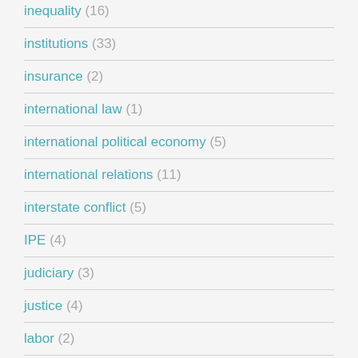inequality (16)
institutions (33)
insurance (2)
international law (1)
international political economy (5)
international relations (11)
interstate conflict (5)
IPE (4)
judiciary (3)
justice (4)
labor (2)